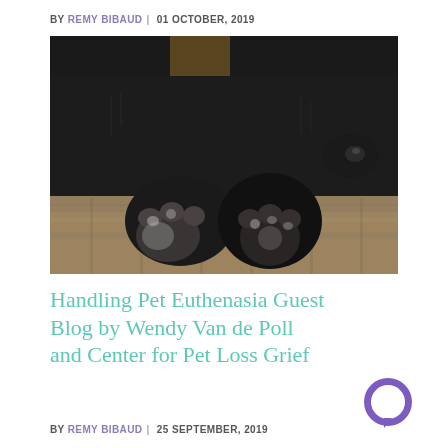BY REMY BIBAUD | 01 OCTOBER, 2019
[Figure (photo): Close-up photo of a black dog lying down with its paws in the foreground on a patterned rug, blurred background]
Handling Pet Euthenasia Guest Blog by Wendy Van de Poll and Center for Pet Loss Grief
BY REMY BIBAUD | 25 SEPTEMBER, 2019